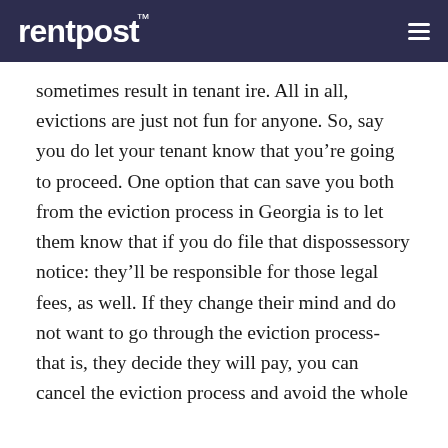rentpost
sometimes result in tenant ire. All in all, evictions are just not fun for anyone. So, say you do let your tenant know that you’re going to proceed. One option that can save you both from the eviction process in Georgia is to let them know that if you do file that dispossessory notice: they’ll be responsible for those legal fees, as well. If they change their mind and do not want to go through the eviction process- that is, they decide they will pay, you can cancel the eviction process and avoid the whole